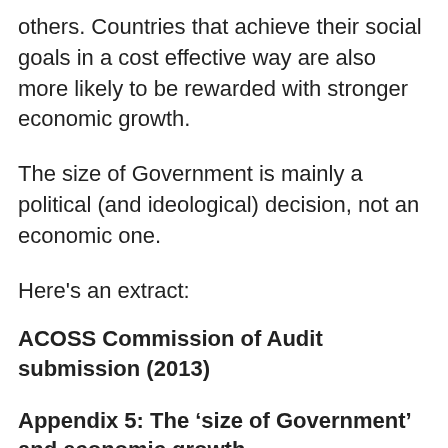others. Countries that achieve their social goals in a cost effective way are also more likely to be rewarded with stronger economic growth.
The size of Government is mainly a political (and ideological) decision, not an economic one.
Here's an extract:
ACOSS Commission of Audit submission (2013)
Appendix 5: The ‘size of Government’ and economic growth.
The effect of the size of public revenues and expenditures on long term productivity and